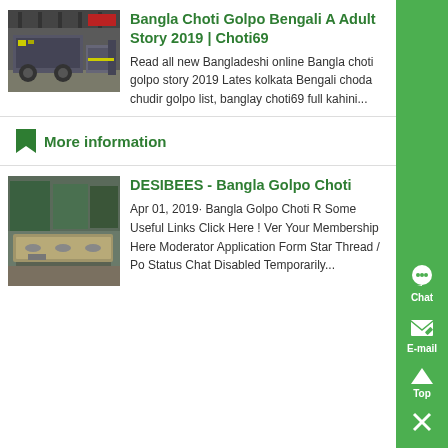[Figure (photo): Industrial machinery / construction equipment in a warehouse]
Bangla Choti Golpo Bengali Adult Story 2019 | Choti69
Read all new Bangladeshi online Bangla choti golpo story 2019 Latest kolkata Bengali choda chudir golpo list, banglay choti69 full kahini...
More information
[Figure (photo): Industrial metal part / heavy equipment on factory floor]
DESIBEES - Bangla Golpo Choti
Apr 01, 2019· Bangla Golpo Choti R Some Useful Links Click Here ! Verify Your Membership Here Moderator Application Form Star Thread / Post Status Chat Disabled Temporarily...